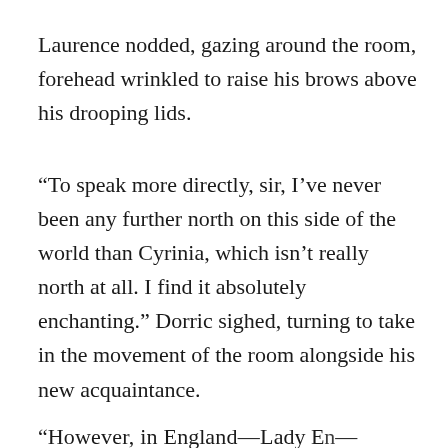Laurence nodded, gazing around the room, forehead wrinkled to raise his brows above his drooping lids.
“To speak more directly, sir, I’ve never been any further north on this side of the world than Cyrinia, which isn’t really north at all. I find it absolutely enchanting.” Dorric sighed, turning to take in the movement of the room alongside his new acquaintance.
“However, in England—Lady Frank—